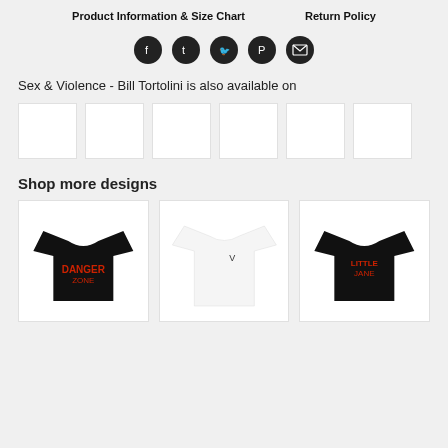Product Information & Size Chart    Return Policy
[Figure (infographic): Five social sharing icons (Facebook, Tumblr, Twitter, Pinterest, Email) as dark circular buttons]
Sex & Violence - Bill Tortolini is also available on
[Figure (infographic): Six white rectangular platform thumbnail images in a row]
Shop more designs
[Figure (photo): Three t-shirt product images: black shirt with red graphic text, white shirt with small logo, black shirt with illustrated figure and red text]